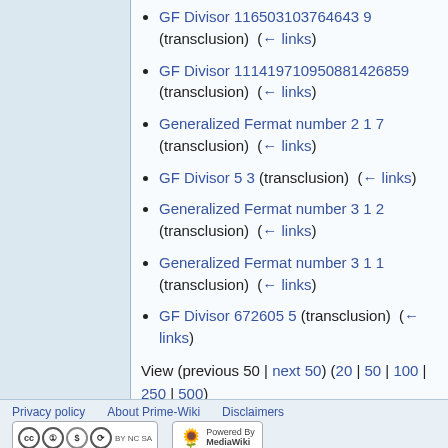GF Divisor 116503103764643 9 (transclusion)  (← links)
GF Divisor 111419710950881426859 (transclusion)  (← links)
Generalized Fermat number 2 1 7 (transclusion)  (← links)
GF Divisor 5 3 (transclusion)  (← links)
Generalized Fermat number 3 1 2 (transclusion)  (← links)
Generalized Fermat number 3 1 1 (transclusion)  (← links)
GF Divisor 672605 5 (transclusion)  (← links)
View (previous 50 | next 50) (20 | 50 | 100 | 250 | 500)
Privacy policy   About Prime-Wiki   Disclaimers